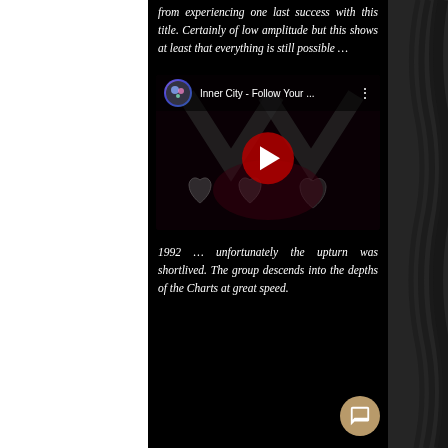from experiencing one last success with this title. Certainly of low amplitude but this shows at least that everything is still possible …
[Figure (screenshot): Embedded YouTube video thumbnail for 'Inner City - Follow Your ...' with play button, channel icon, and decorative heart shapes in background]
1992 … unfortunately the upturn was shortlived. The group descends into the depths of the Charts at great speed.